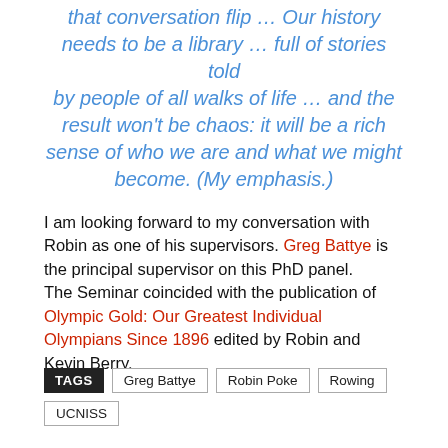that conversation flip … Our history needs to be a library … full of stories told by people of all walks of life … and the result won't be chaos: it will be a rich sense of who we are and what we might become. (My emphasis.)
I am looking forward to my conversation with Robin as one of his supervisors. Greg Battye is the principal supervisor on this PhD panel.
The Seminar coincided with the publication of Olympic Gold: Our Greatest Individual Olympians Since 1896 edited by Robin and Kevin Berry.
TAGS  Greg Battye  Robin Poke  Rowing  UCNISS